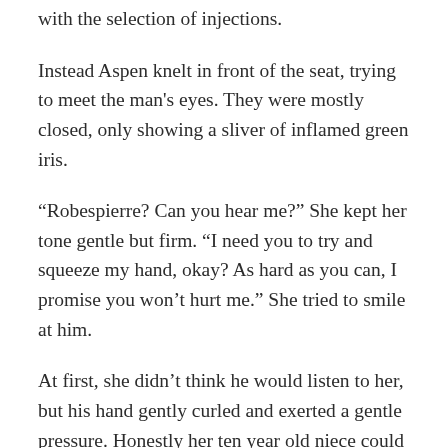…arming him further by fussing around with the selection of injections.
Instead Aspen knelt in front of the seat, trying to meet the man's eyes. They were mostly closed, only showing a sliver of inflamed green iris.
“Robespierre? Can you hear me?” She kept her tone gentle but firm. “I need you to try and squeeze my hand, okay? As hard as you can, I promise you won’t hurt me.” She tried to smile at him.
At first, she didn’t think he would listen to her, but his hand gently curled and exerted a gentle pressure. Honestly her ten year old niece could have squeezed harder but Aspen